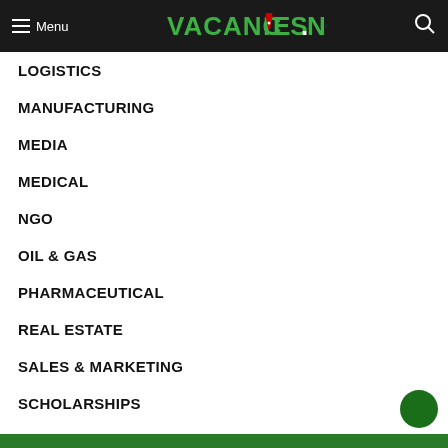Menu | VACANCIES.NG
LOGISTICS
MANUFACTURING
MEDIA
MEDICAL
NGO
OIL & GAS
PHARMACEUTICAL
REAL ESTATE
SALES & MARKETING
SCHOLARSHIPS
TELECOM & ICT
Uncategorized